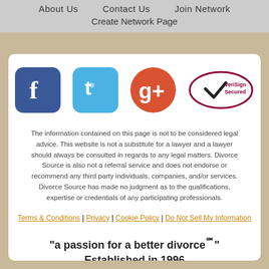About Us   Contact Us   Join Network
Create Network Page
[Figure (logo): Social media icons: Facebook, Twitter, Google+, and VeriSign Secured badge]
The information contained on this page is not to be considered legal advice. This website is not a substitute for a lawyer and a lawyer should always be consulted in regards to any legal matters. Divorce Source is also not a referral service and does not endorse or recommend any third party individuals, companies, and/or services. Divorce Source has made no judgment as to the qualifications, expertise or credentials of any participating professionals.
Terms & Conditions | Privacy | Cookie Policy | Do Not Sell My Information
"a passion for a better divorce℠"
Established in 1996
Copyright© 1996-2022. All rights reserved by MH Sub I, LLC dba 3StepDivorce.